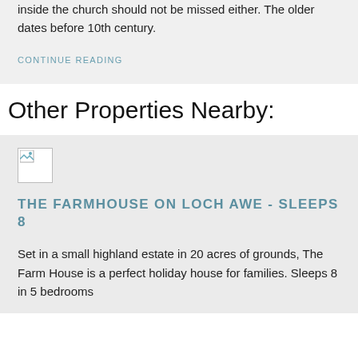inside the church should not be missed either. The older dates before 10th century.
CONTINUE READING
Other Properties Nearby:
[Figure (photo): Broken image placeholder thumbnail]
THE FARMHOUSE ON LOCH AWE - SLEEPS 8
Set in a small highland estate in 20 acres of grounds, The Farm House is a perfect holiday house for families. Sleeps 8 in 5 bedrooms